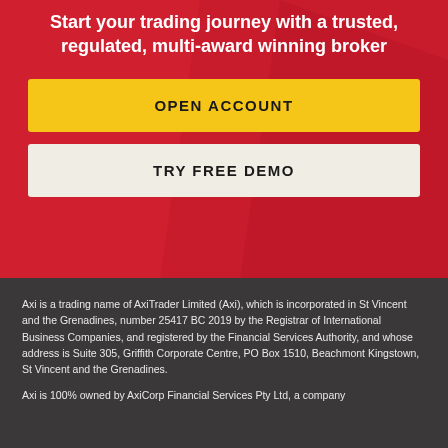Start your trading journey with a trusted, regulated, multi-award winning broker
OPEN ACCOUNT
TRY FREE DEMO
Axi is a trading name of AxiTrader Limited (Axi), which is incorporated in St Vincent and the Grenadines, number 25417 BC 2019 by the Registrar of International Business Companies, and registered by the Financial Services Authority, and whose address is Suite 305, Griffith Corporate Centre, PO Box 1510, Beachmont Kingstown, St Vincent and the Grenadines.
Axi is 100% owned by AxiCorp Financial Services Pty Ltd, a company